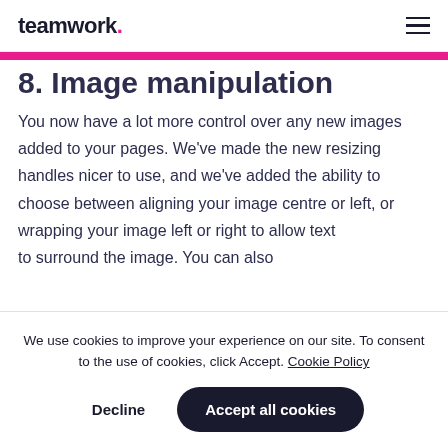teamwork.
8. Image manipulation
You now have a lot more control over any new images added to your pages. We've made the new resizing handles nicer to use, and we've added the ability to choose between aligning your image centre or left, or wrapping your image left or right to allow text to surround the image. You can also
We use cookies to improve your experience on our site. To consent to the use of cookies, click Accept. Cookie Policy
Decline
Accept all cookies